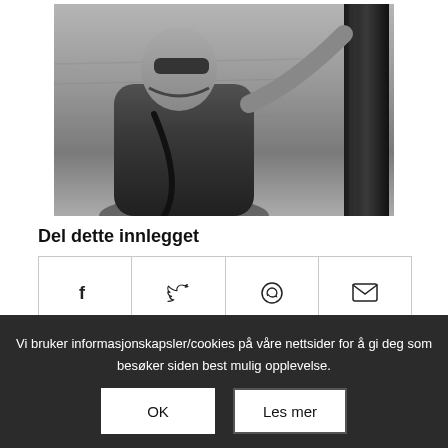[Figure (photo): Black and white photo of a man wearing sunglasses and a t-shirt with a bag strap, standing near a body of water and a dark metal pole, with his arm raised to touch the pole.]
Del dette innlegget
[Figure (infographic): Four share buttons in a row with icons: Facebook (f), Twitter (bird), WhatsApp (phone circle), Email (envelope)]
Vi bruker informasjonskapsler/cookies på våre nettsider for å gi deg som besøker siden best mulig opplevelse.
OK
Les mer